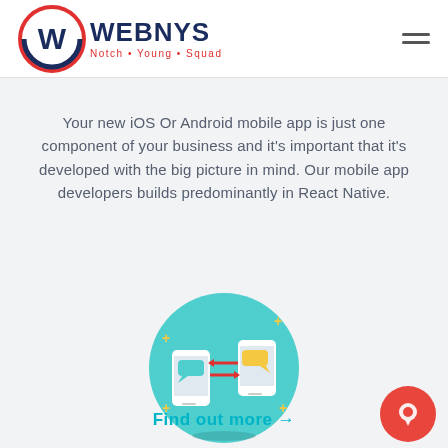[Figure (logo): Webnys logo with circular W icon in red and navy, text WEBNYS in dark navy, tagline Notch · Young · Squad in red]
Your new iOS Or Android mobile app is just one component of your business and it's important that it's developed with the big picture in mind. Our mobile app developers builds predominantly in React Native.
[Figure (illustration): Mobile app development illustration showing two smartphones with chat/message bubbles and connecting arrows on a teal circular background with plus signs]
Find out more →